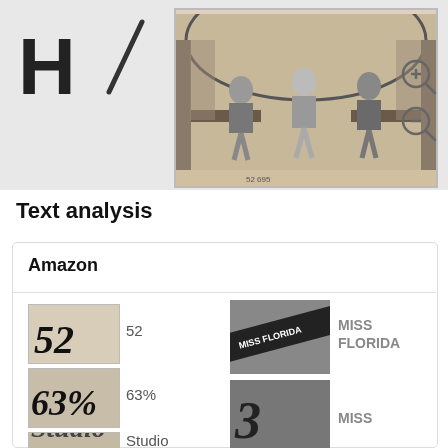[Figure (logo): H/ logo in top-left of gray banner]
[Figure (photo): Black and white photograph of three women sitting inside what appears to be a railway car or trailer interior, with arched ceiling and curtains]
[Figure (infographic): Zoom in and zoom out magnifier icons on the right side of the banner]
Text analysis
Amazon
[Figure (photo): Handwritten number 52 on light background]
52
[Figure (photo): Cropped photo showing a sash reading MISS FLORIDA]
MISS FLORIDA
[Figure (photo): Handwritten 63% on light background]
63%
[Figure (photo): Partially visible cropped photo with handwritten text starting with 3]
MISS
[Figure (photo): Handwritten word Studio on aged background]
Studio